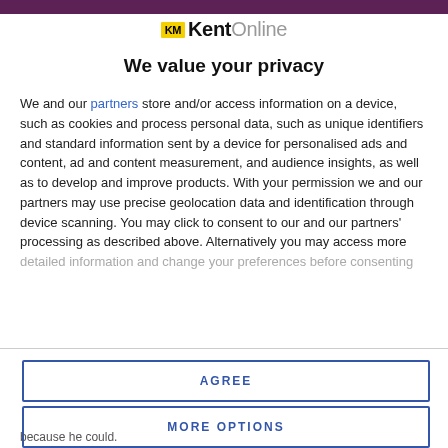[Figure (logo): KM KentOnline logo with yellow KM box and grey Online text]
We value your privacy
We and our partners store and/or access information on a device, such as cookies and process personal data, such as unique identifiers and standard information sent by a device for personalised ads and content, ad and content measurement, and audience insights, as well as to develop and improve products. With your permission we and our partners may use precise geolocation data and identification through device scanning. You may click to consent to our and our partners' processing as described above. Alternatively you may access more detailed information and change your preferences before consenting
AGREE
MORE OPTIONS
because he could.